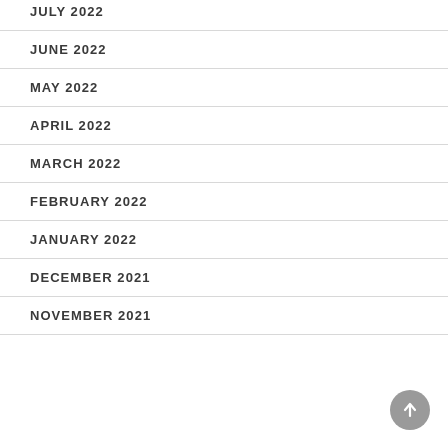JULY 2022
JUNE 2022
MAY 2022
APRIL 2022
MARCH 2022
FEBRUARY 2022
JANUARY 2022
DECEMBER 2021
NOVEMBER 2021